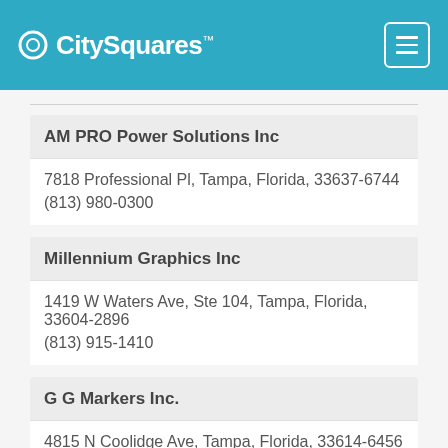CitySquares
AM PRO Power Solutions Inc
7818 Professional Pl, Tampa, Florida, 33637-6744
(813) 980-0300
Millennium Graphics Inc
1419 W Waters Ave, Ste 104, Tampa, Florida, 33604-2896
(813) 915-1410
G G Markers Inc.
4815 N Coolidge Ave, Tampa, Florida, 33614-6456
(813) 873-8656